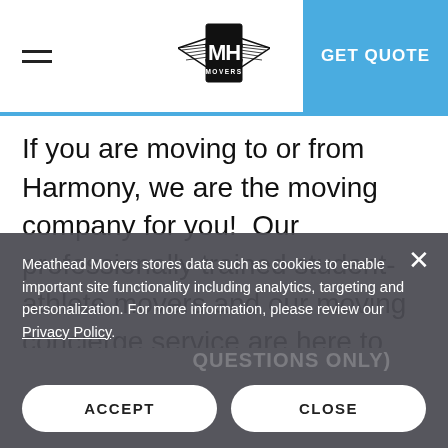MH Movers — GET QUOTE
If you are moving to or from Harmony, we are the moving company for you!  Our professionally trained student-athlete movers and our moving concierge service are here to help you with every stage of your move in Harmony.
Meathead Movers stores data such as cookies to enable important site functionality including analytics, targeting and personalization. For more information, please review our Privacy Policy.
ACCEPT
CLOSE